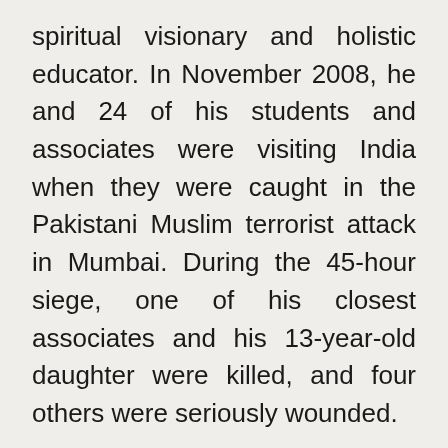spiritual visionary and holistic educator. In November 2008, he and 24 of his students and associates were visiting India when they were caught in the Pakistani Muslim terrorist attack in Mumbai. During the 45-hour siege, one of his closest associates and his 13-year-old daughter were killed, and four others were seriously wounded.
The response he and his group had to these horrors was so out of the ordinary, so unexpected by the media and the world–and so hopeful–that they experienced an outpouring of gratitude and respect from people all over the